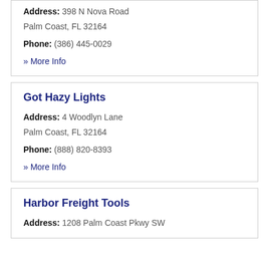Grass Doctor
Address: 398 N Nova Road
Palm Coast, FL 32164
Phone: (386) 445-0029
» More Info
Got Hazy Lights
Address: 4 Woodlyn Lane
Palm Coast, FL 32164
Phone: (888) 820-8393
» More Info
Harbor Freight Tools
Address: 1208 Palm Coast Pkwy SW